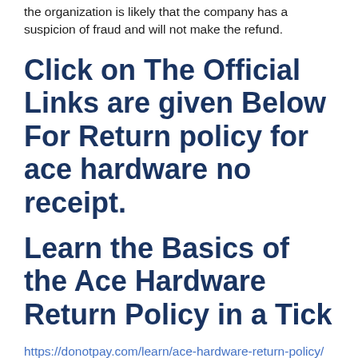the organization is likely that the company has a suspicion of fraud and will not make the refund.
Click on The Official Links are given Below For Return policy for ace hardware no receipt.
Learn the Basics of the Ace Hardware Return Policy in a Tick
https://donotpay.com/learn/ace-hardware-return-policy/
Ace Hardware store comes up with